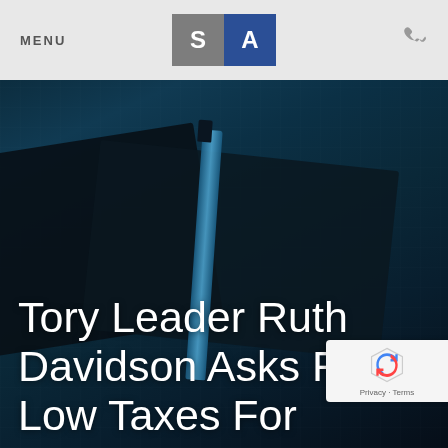MENU  [SA Logo]  [Phone icon]
[Figure (photo): Dark blue-tinted overhead photo of a desk with a pen resting on notebooks, serving as hero banner background]
Tory Leader Ruth Davidson Asks For Low Taxes For